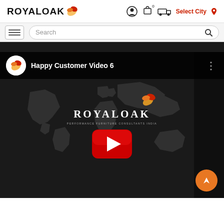ROYALOAK — navigation header with logo, user icon, cart, delivery icon, Select City
[Figure (screenshot): Navigation bar with hamburger menu and search box]
[Figure (screenshot): YouTube video embed showing 'Happy Customer Video 6' with Royaloak branding and world map background, red play button in center, navigation arrow button bottom right]